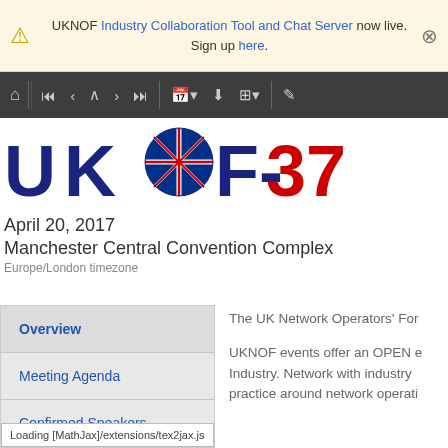UKNOF Industry Collaboration Tool and Chat Server now live. Sign up here.
[Figure (screenshot): Navigation toolbar with home, first, previous, up, next, last, calendar, download, layout, and edit icons on dark grey background]
[Figure (logo): UKNOF 37 logo with UK flag globe and red number 37]
April 20, 2017
Manchester Central Convention Complex
Europe/London timezone
Overview
Meeting Agenda
Confirmed Speakers
The UK Network Operators' For
UKNOF events offer an OPEN e Industry. Network with industry practice around network operati
Loading [MathJax]/extensions/tex2jax.js